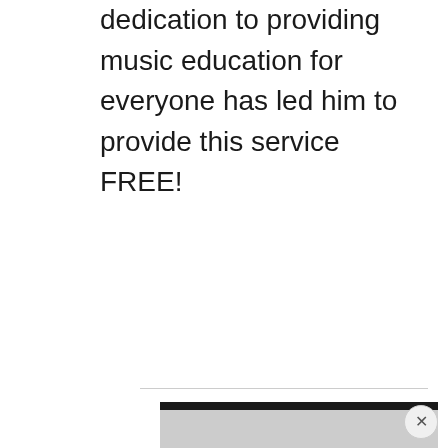dedication to providing music education for everyone has led him to provide this service FREE!
[Figure (other): Advertisement banner with grey box and close button (X), partially visible at bottom of page]